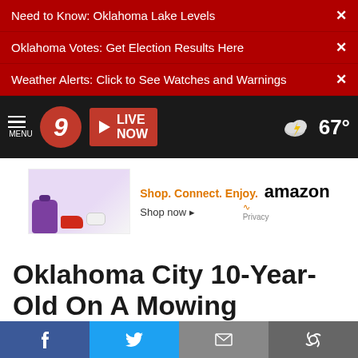Need to Know: Oklahoma Lake Levels ×
Oklahoma Votes: Get Election Results Here ×
Weather Alerts: Click to See Watches and Warnings ×
[Figure (screenshot): News channel 9 navigation bar with logo, LIVE NOW button, and 67° weather icon]
[Figure (screenshot): Amazon advertisement: Shop. Connect. Enjoy. Shop now ▸ amazon Privacy]
Oklahoma City 10-Year-Old On A Mowing Mission
Tuesday, July 14th 2020, 7:33 pm
[Figure (screenshot): Social share bar with Facebook, Twitter, Email, and Link buttons]